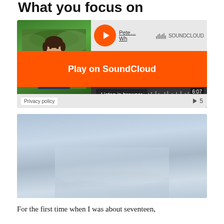What you focus on
[Figure (screenshot): SoundCloud embedded audio player widget showing a person's photo, orange play button, 'Play on SoundCloud' banner, waveform, 'Listen in browser' label, duration 6:07, Privacy policy link, and play count 5]
[Figure (photo): Aerial or landscape photo showing a hazy sky and indistinct horizon, predominantly grey-blue tones]
For the first time when I was about seventeen,